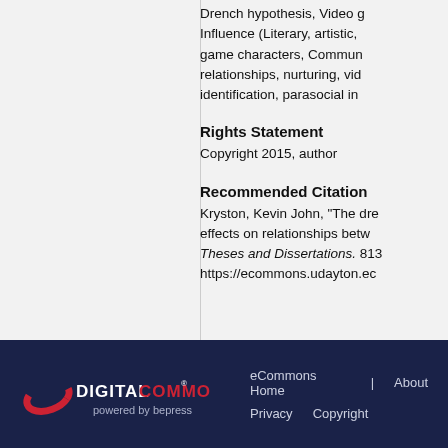Drench hypothesis, Video game Influence (Literary, artistic, game characters, Community relationships, nurturing, video game identification, parasocial interaction
Rights Statement
Copyright 2015, author
Recommended Citation
Kryston, Kevin John, "The drench effects on relationships between... Theses and Dissertations. 813... https://ecommons.udayton.e...
Digital Commons powered by bepress | eCommons Home | About | Privacy | Copyright